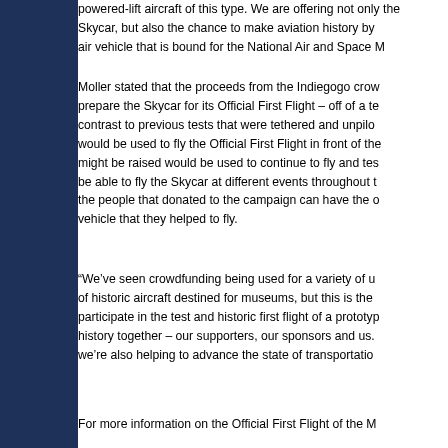powered-lift aircraft of this type. We are offering not only the Skycar, but also the chance to make aviation history by air vehicle that is bound for the National Air and Space M
Moller stated that the proceeds from the Indiegogo crow prepare the Skycar for its Official First Flight – off of a te contrast to previous tests that were tethered and unpilo would be used to fly the Official First Flight in front of the might be raised would be used to continue to fly and tes be able to fly the Skycar at different events throughout t the people that donated to the campaign can have the o vehicle that they helped to fly.
“We’ve seen crowdfunding being used for a variety of u of historic aircraft destined for museums, but this is the participate in the test and historic first flight of a prototyp history together – our supporters, our sponsors and us. we’re also helping to advance the state of transportatio
For more information on the Official First Flight of the M